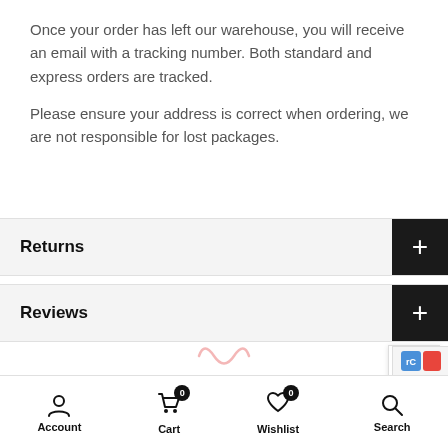Once your order has left our warehouse, you will receive an email with a tracking number. Both standard and express orders are tracked.
Please ensure your address is correct when ordering, we are not responsible for lost packages.
Returns
Reviews
Account   Cart 0   Wishlist 0   Search